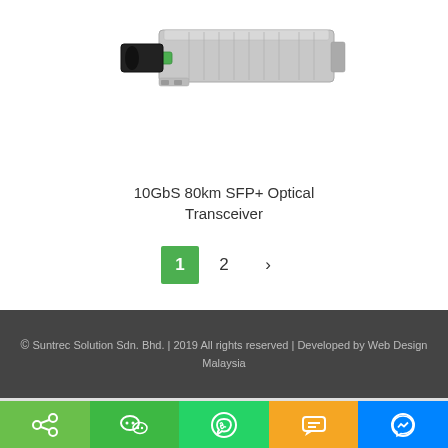[Figure (photo): SFP+ optical transceiver module, silver metallic body with green pull tab, shown at an angle]
10GbS 80km SFP+ Optical Transceiver
1  2  >
© Suntrec Solution Sdn. Bhd. | 2019 All rights reserved | Developed by Web Design Malaysia